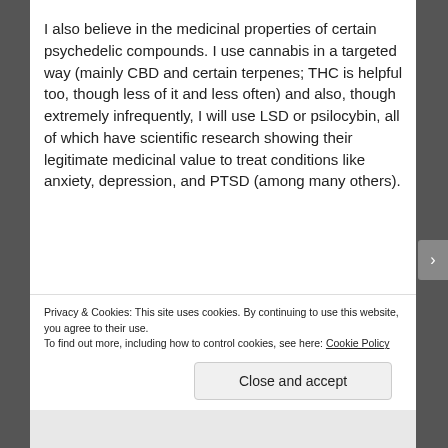I also believe in the medicinal properties of certain psychedelic compounds. I use cannabis in a targeted way (mainly CBD and certain terpenes; THC is helpful too, though less of it and less often) and also, though extremely infrequently, I will use LSD or psilocybin, all of which have scientific research showing their legitimate medicinal value to treat conditions like anxiety, depression, and PTSD (among many others).
It's hard to say what the future of Mizmor looks
Privacy & Cookies: This site uses cookies. By continuing to use this website, you agree to their use.
To find out more, including how to control cookies, see here: Cookie Policy
Close and accept